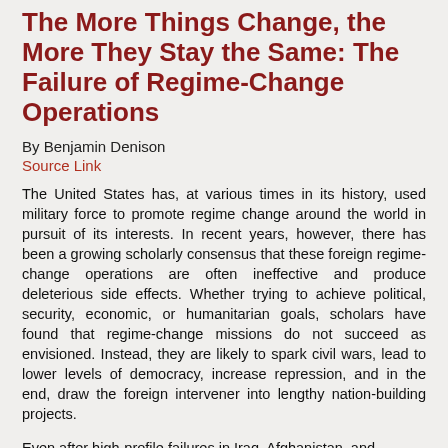The More Things Change, the More They Stay the Same: The Failure of Regime-Change Operations
By Benjamin Denison
Source Link
The United States has, at various times in its history, used military force to promote regime change around the world in pursuit of its interests. In recent years, however, there has been a growing scholarly consensus that these foreign regime-change operations are often ineffective and produce deleterious side effects. Whether trying to achieve political, security, economic, or humanitarian goals, scholars have found that regime-change missions do not succeed as envisioned. Instead, they are likely to spark civil wars, lead to lower levels of democracy, increase repression, and in the end, draw the foreign intervener into lengthy nation-building projects.
Even after high-profile failures in Iraq, Afghanistan, and